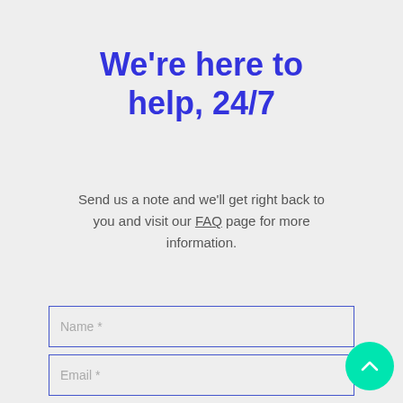We're here to help, 24/7
Send us a note and we'll get right back to you and visit our FAQ page for more information.
[Figure (other): Web form with Name, Email, and a third input field, plus a teal circular back-to-top button]